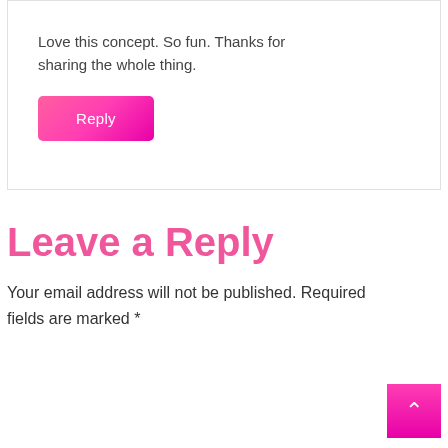Love this concept. So fun. Thanks for sharing the whole thing.
Reply
Leave a Reply
Your email address will not be published. Required fields are marked *